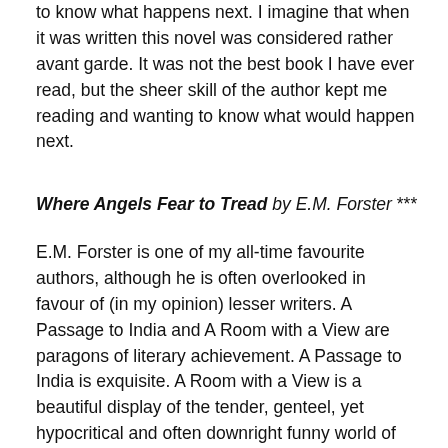to know what happens next. I imagine that when it was written this novel was considered rather avant garde. It was not the best book I have ever read, but the sheer skill of the author kept me reading and wanting to know what would happen next.
Where Angels Fear to Tread by E.M. Forster ***
E.M. Forster is one of my all-time favourite authors, although he is often overlooked in favour of (in my opinion) lesser writers. A Passage to India and A Room with a View are paragons of literary achievement. A Passage to India is exquisite. A Room with a View is a beautiful display of the tender, genteel, yet hypocritical and often downright funny world of upper-middle class Edwardian England. Where Angels Fear to Tread could never live up to those